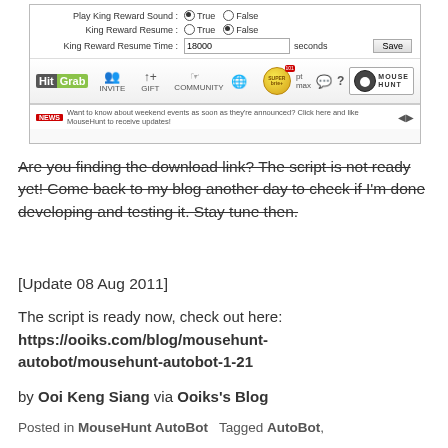[Figure (screenshot): Screenshot of MouseHunt browser game interface showing King Reward settings (Play King Reward Sound: True selected, King Reward Resume: False selected, King Reward Resume Time: 18000 seconds, Save button) and the HitGrab/MouseHunt toolbar with navigation icons and news bar.]
Are you finding the download link? The script is not ready yet! Come back to my blog another day to check if I'm done developing and testing it. Stay tune then.
[Update 08 Aug 2011]
The script is ready now, check out here: https://ooiks.com/blog/mousehunt-autobot/mousehunt-autobot-1-21
by Ooi Keng Siang via Ooiks's Blog
Posted in MouseHunt AutoBot   Tagged AutoBot,